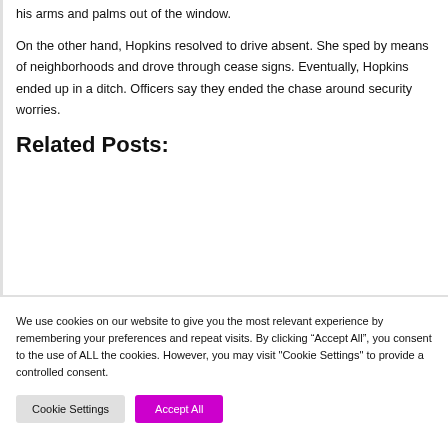his arms and palms out of the window.
On the other hand, Hopkins resolved to drive absent. She sped by means of neighborhoods and drove through cease signs. Eventually, Hopkins ended up in a ditch. Officers say they ended the chase around security worries.
Related Posts:
We use cookies on our website to give you the most relevant experience by remembering your preferences and repeat visits. By clicking “Accept All”, you consent to the use of ALL the cookies. However, you may visit "Cookie Settings" to provide a controlled consent.